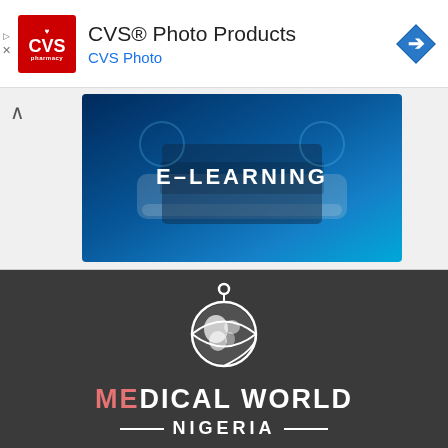[Figure (logo): CVS Pharmacy advertisement banner with CVS pharmacy red logo, title 'CVS® Photo Products', subtitle 'CVS Photo', blue arrow navigation icon, and ad controls]
[Figure (photo): E-learning banner image showing hands holding a tablet with 'E-LEARNING' text overlay on blue background]
[Figure (logo): Medical World Nigeria logo on dark gray background - white globe icon with orbital ring and text 'MEDICAL WORLD NIGERIA' with red 'ME' highlight]